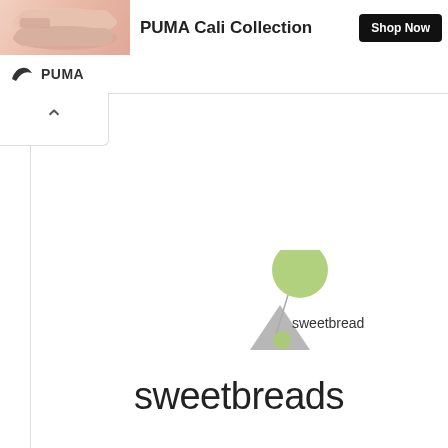[Figure (screenshot): PUMA advertisement banner showing shoes and 'PUMA Cali Collection' text with a 'Shop Now' button]
PUMA
[Figure (network-graph): Network graph showing nodes connected by lines; a large green circle at top connected by a line to a small green circle next to a gray triangle; labeled 'sweetbread' near the small node]
sweetbreads